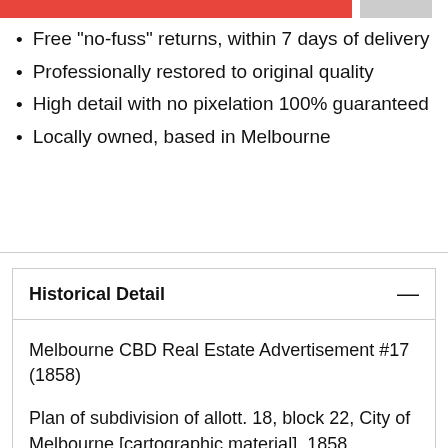Free "no-fuss" returns, within 7 days of delivery
Professionally restored to original quality
High detail with no pixelation 100% guaranteed
Locally owned, based in Melbourne
Historical Detail
Melbourne CBD Real Estate Advertisement #17 (1858)
Plan of subdivision of allott. 18, block 22, City of Melbourne [cartographic material]. 1858